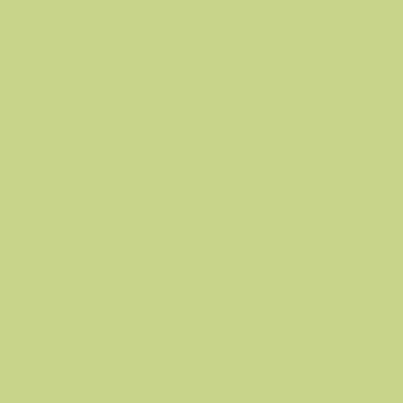nike air max 1...
red bottom
naot sandals
lebron james s...
coach outlet o...
kate spade bag...
dansko shoes
vans outlet sto...
coach outlet o...
pandora jewel...
cheap jordan s...
discount oakle...
michael kors o...
berluti shoes
fitflop shoes
converse outle...
michael kors h...
michael kors o...
polo ralph laur...
mlb jerseys
canada goose
adidas yeezy
ray ban glasse...
coach factory o...
pandora charm...
pandora outlet...
moncler jacket...
nike cortez cla...
alden shoes
mammut boots
mont blanc pe...
oakley sunglas...
adidas yeezy
fitflops sale
adidas yeezy b...
tiffany and co ...
canada goose
salvatore ferra...